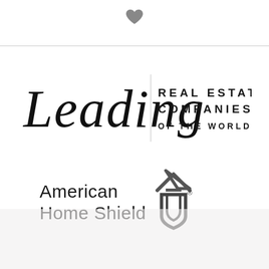[Figure (logo): Small gray heart icon at top center]
[Figure (logo): Leading Real Estate Companies of the World logo — cursive 'Leading' wordmark with sans-serif text 'REAL ESTATE COMPANIES OF THE WORLD®']
[Figure (logo): American Home Shield logo — text 'American Home Shield' with house/shield icon and trademark symbol]